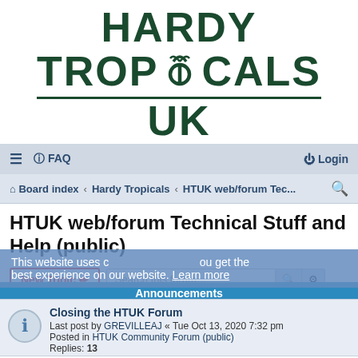[Figure (logo): Hardy Tropicals UK logo with palm tree icon replacing the O in TROPICALS, dark green text on white background]
≡  FAQ    Login
Board index · Hardy Tropicals · HTUK web/forum Tec...
HTUK web/forum Technical Stuff and Help (public)
New Topic  Search this forum…
258 topics  1  2  3  >
This website uses cookies to ensure you get the best experience on our website. Learn more
Announcements
Closing the HTUK Forum
Last post by GREVILLEAJ « Tue Oct 13, 2020 7:32 pm
Posted in HTUK Community Forum (public)
Replies: 13
Common forum searches